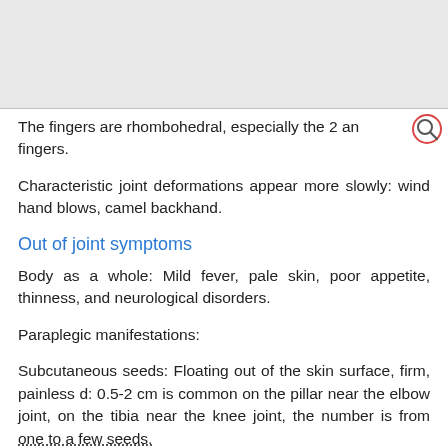The fingers are rhombohedral, especially the 2 and fingers.
Characteristic joint deformations appear more slowly: wind hand blows, camel backhand.
Out of joint symptoms
Body as a whole: Mild fever, pale skin, poor appetite, thinness, and neurological disorders.
Paraplegic manifestations:
Subcutaneous seeds: Floating out of the skin surface, firm, painless d: 0.5-2 cm is common on the pillar near the elbow joint, on the tibia near the knee joint, the number is from one to a few seeds.